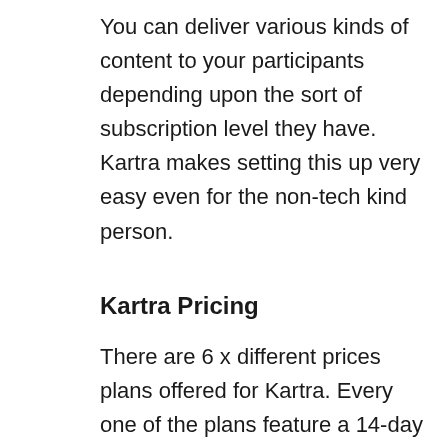You can deliver various kinds of content to your participants depending upon the sort of subscription level they have. Kartra makes setting this up very easy even for the non-tech kind person.
Kartra Pricing
There are 6 x different prices plans offered for Kartra. Every one of the plans feature a 14-day trial which will